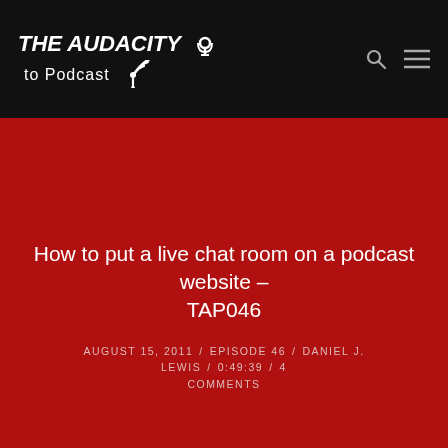THE AUDACITY to Podcast
How to put a live chat room on a podcast website – TAP046
AUGUST 15, 2011 / EPISODE 46 / DANIEL J. LEWIS / 0:49:39 / 4 COMMENTS